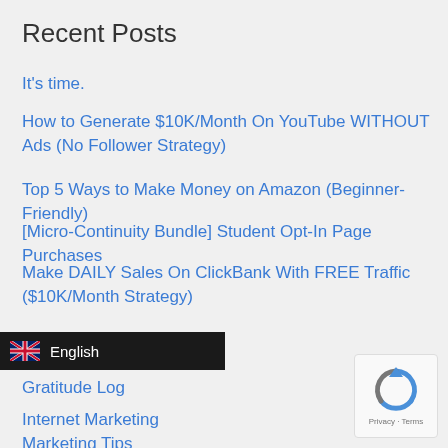Recent Posts
It's time.
How to Generate $10K/Month On YouTube WITHOUT Ads (No Follower Strategy)
Top 5 Ways to Make Money on Amazon (Beginner-Friendly)
[Micro-Continuity Bundle] Student Opt-In Page Purchases
Make DAILY Sales On ClickBank With FREE Traffic ($10K/Month Strategy)
Categories
Gratitude Log
Internet Marketing
Marketing Tips
Online Marketing